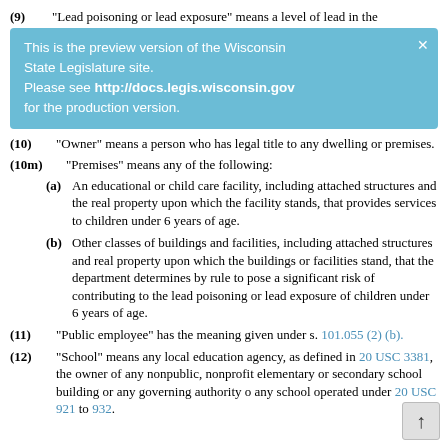(9) “Lead poisoning or lead exposure” means a level of lead in the
[Figure (screenshot): Preview banner: 'This is the preview version of the Wisconsin State Legislature site. Please see http://docs.legis.wisconsin.gov for the production version.' with a close X button.]
(10) “Owner” means a person who has legal title to any dwelling or premises.
(10m) “Premises” means any of the following:
(a) An educational or child care facility, including attached structures and the real property upon which the facility stands, that provides services to children under 6 years of age.
(b) Other classes of buildings and facilities, including attached structures and real property upon which the buildings or facilities stand, that the department determines by rule to pose a significant risk of contributing to the lead poisoning or lead exposure of children under 6 years of age.
(11) “Public employee” has the meaning given under s. 101.055 (2) (b).
(12) “School” means any local education agency, as defined in 20 USC 3381, the owner of any nonpublic, nonprofit elementary or secondary school building or any governing authority of any school operated under 20 USC 921 to 932.